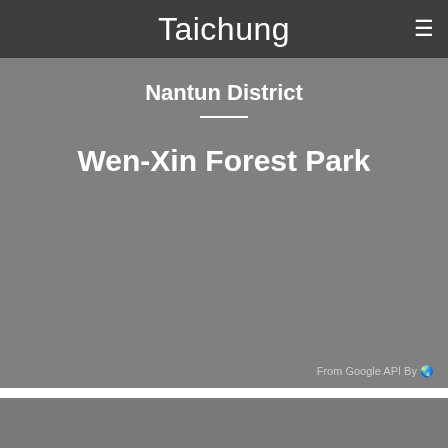Taichung
Nantun District
Wen-Xin Forest Park
From Google API By 圖
[Figure (other): Gray placeholder image area at the bottom of the page]